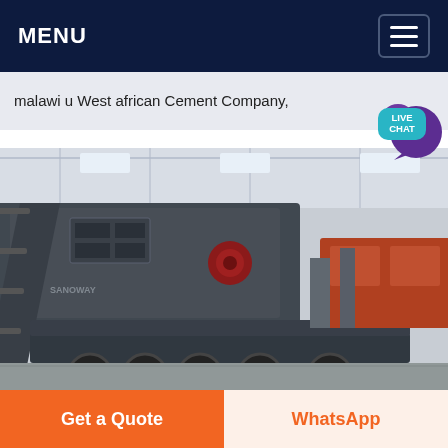MENU
malawi u West african Cement Company,
[Figure (photo): Large industrial mobile crushing machine inside a factory warehouse, mounted on a multi-axle trailer, photographed from the front-left angle showing conveyor belt and heavy machinery components.]
Get a Quote
WhatsApp